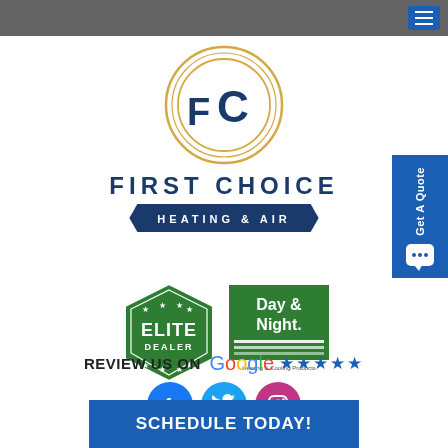[Figure (logo): First Choice Heating & Air logo with FC monogram in gold circle, company name in blue text, and 'HEATING & AIR' banner]
[Figure (logo): Elite Dealer badge (green hexagon with stars) and Day & Night Heating & Cooling Products logo]
REVIEW US ON Google ★★★★★
[Figure (infographic): Social media icons: Facebook, Twitter, Instagram]
SCHEDULE TODAY!
[Figure (other): Get A Quote sidebar button (blue, vertical text with chat bubble icon)]